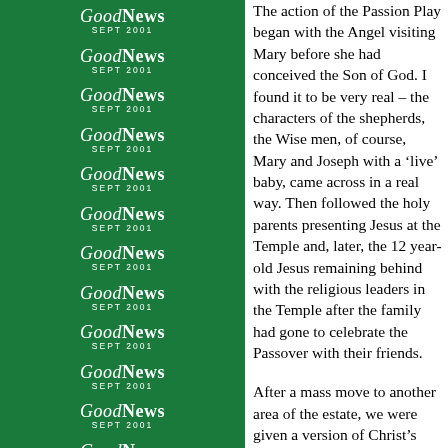[Figure (logo): GoodNews SEPT 2001 logo repeated down a green sidebar, 14 repetitions]
The action of the Passion Play began with the Angel visiting Mary before she had conceived the Son of God. I found it to be very real – the characters of the shepherds, the Wise men, of course, Mary and Joseph with a 'live' baby, came across in a real way. Then followed the holy parents presenting Jesus at the Temple and, later, the 12 year-old Jesus remaining behind with the religious leaders in the Temple after the family had gone to celebrate the Passover with their friends.

After a mass move to another area of the estate, we were given a version of Christ's Ministry, beginning with the calling of the 'ordinary' disciples. Then through a number of the miracles he performed, including another moving moment with the feeding, when the audience was fed with bread brought round by the disciples. Several of the Parables were retold as well, the way the children in were so natural and meaningful (they even included children from the audience at one point.)

When it came to Christ's Passion, Dr. Luke handed over to James, one of our Lord's closest followers. The journey included Palm Sunday, as the actors passed on their way between the audience, Garden of Gethsemane, Peter's denial of his Lord, Christ's trial, the actual Crucifixion, Mary in the Garden after the resurrection, meeting the two Disciples on the road and the way in which the Ascension were among many such moving and po